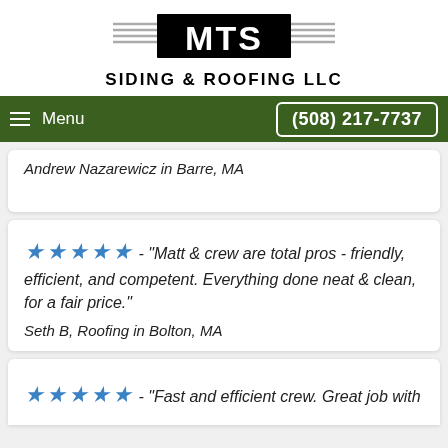[Figure (logo): MTS Siding & Roofing LLC logo with bold MTS in a box and decorative wing lines on each side]
SIDING & ROOFING LLC
Menu  (508) 217-7737
Andrew Nazarewicz in Barre, MA
★★★★★ - "Matt & crew are total pros - friendly, efficient, and competent. Everything done neat & clean, for a fair price."
Seth B, Roofing in Bolton, MA
★★★★★ - "Fast and efficient crew. Great job with